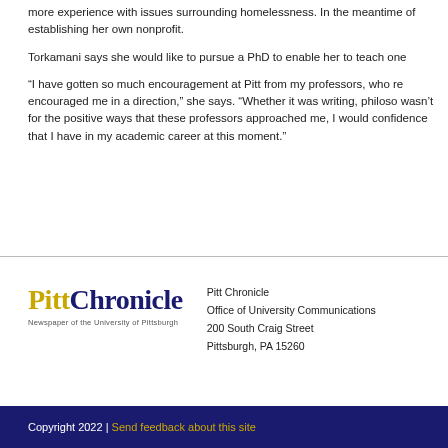more experience with issues surrounding homelessness. In the meantime of establishing her own nonprofit.
Torkamani says she would like to pursue a PhD to enable her to teach one
“I have gotten so much encouragement at Pitt from my professors, who re encouraged me in a direction,” she says. “Whether it was writing, philoso wasn’t for the positive ways that these professors approached me, I would confidence that I have in my academic career at this moment.”
[Figure (logo): Pitt Chronicle logo - Newspaper of the University of Pittsburgh]
Pitt Chronicle
Office of University Communications
200 South Craig Street
Pittsburgh, PA 15260
Copyright 2022 | Send feedback about this site